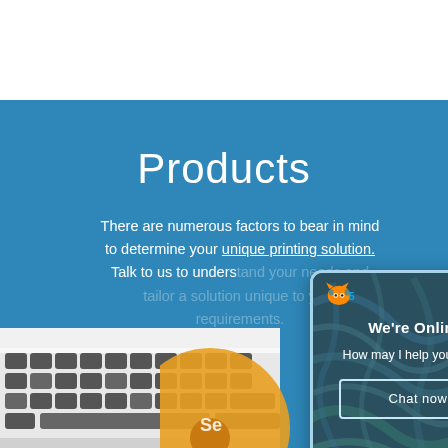Products
There are numerous factors to bear in mind to determine your unique printing solution. Talk to us to understand your needs and tailor a solution unique to your requirements.
[Figure (screenshot): Screenshot of a website Products page with a blue background, showing a chat widget overlay. The main page has a 'Products' heading and descriptive text. Bottom left shows a laptop keyboard photo with an orange circular element. A live chat popup widget is overlaid on the right side showing a logo, 'We're Online!', 'How may I help you today?', and a 'Chat now' button on a textured teal/dark background.]